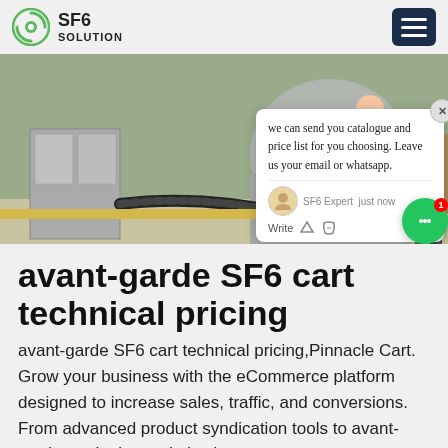SF6 SOLUTION
[Figure (photo): Industrial SF6 equipment scene: large metal tanks and machinery with worker in blue uniform holding a hose/cable. Chat popup overlay visible.]
avant-garde SF6 cart technical pricing
avant-garde SF6 cart technical pricing,Pinnacle Cart. Grow your business with the eCommerce platform designed to increase sales, traffic, and conversions. From advanced product syndication tools to avant-garde marketing optimization